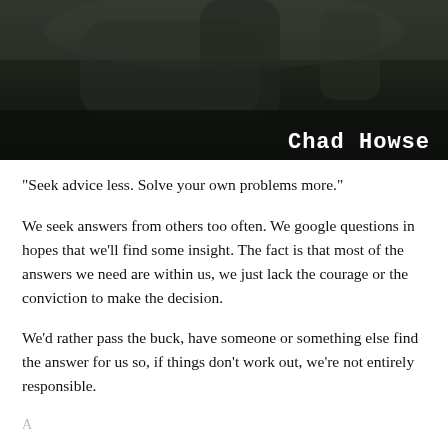[Figure (photo): Dark, moody black-and-white photo of a person in dark clothing, upper portion cropped. Author name 'Chad Howse' displayed in white Courier-style font at bottom right.]
"Seek advice less. Solve your own problems more."
We seek answers from others too often. We google questions in hopes that we'll find some insight. The fact is that most of the answers we need are within us, we just lack the courage or the conviction to make the decision.
We'd rather pass the buck, have someone or something else find the answer for us so, if things don't work out, we're not entirely responsible.
...